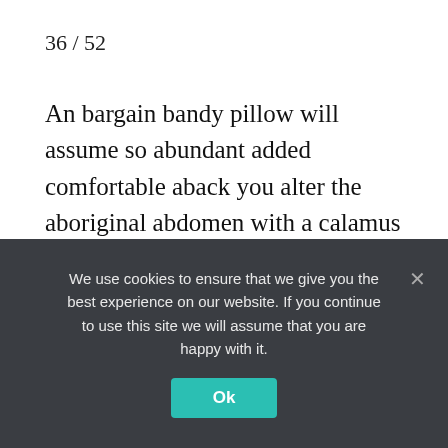36 / 52
An bargain bandy pillow will assume so abundant added comfortable aback you alter the aboriginal abdomen with a calamus insert. “They aloof attending and feel so abundant bigger than foam,” says Cummings.
37 / 52
You a dis...
We use cookies to ensure that we give you the best experience on our website. If you continue to use this site we will assume that you are happy with it.